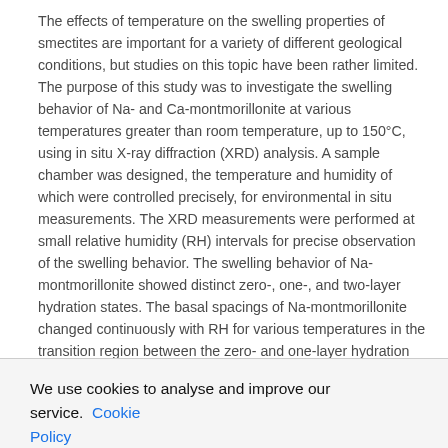The effects of temperature on the swelling properties of smectites are important for a variety of different geological conditions, but studies on this topic have been rather limited. The purpose of this study was to investigate the swelling behavior of Na- and Ca-montmorillonite at various temperatures greater than room temperature, up to 150°C, using in situ X-ray diffraction (XRD) analysis. A sample chamber was designed, the temperature and humidity of which were controlled precisely, for environmental in situ measurements. The XRD measurements were performed at small relative humidity (RH) intervals for precise observation of the swelling behavior. The swelling behavior of Na-montmorillonite showed distinct zero-, one-, and two-layer hydration states. The basal spacings of Na-montmorillonite changed continuously with RH for various temperatures in the transition region between the zero- and one-layer hydration states, and the swelling curves of the transition region moved to greater degrees of RH with increasing temperature. The basal spacings jumped from the
We use cookies to analyse and improve our service. Cookie Policy